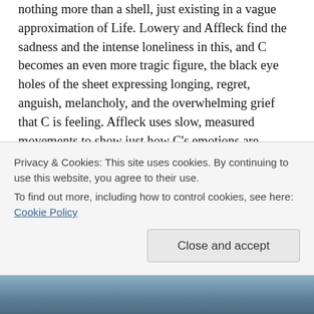nothing more than a shell, just existing in a vague approximation of Life. Lowery and Affleck find the sadness and the intense loneliness in this, and C becomes an even more tragic figure, the black eye holes of the sheet expressing longing, regret, anguish, melancholy, and the overwhelming grief that C is feeling. Affleck uses slow, measured movements to show just how C's emotions are ebbing and flowing, and despite the sheet (or maybe because of it), there's not one moment in the movie where C's sensitivity to his situation isn't easy to grasp. It's a performance that is so detailed and so subtle that it makes the movie much more emotional and affecting than it looks.
Privacy & Cookies: This site uses cookies. By continuing to use this website, you agree to their use.
To find out more, including how to control cookies, see here: Cookie Policy
Close and accept
[Figure (photo): Partial bottom image strip, appears to be a dark blueish-gray photo, partially visible at the bottom of the page.]